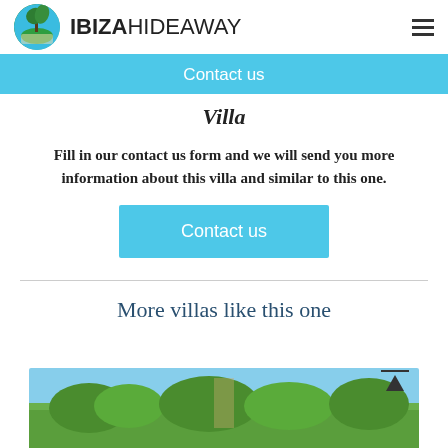IBIZAHIDEAWAY
Contact us
Villa
Fill in our contact us form and we will send you more information about this villa and similar to this one.
Contact us
More villas like this one
[Figure (photo): Preview image of a villa with trees and blue sky]